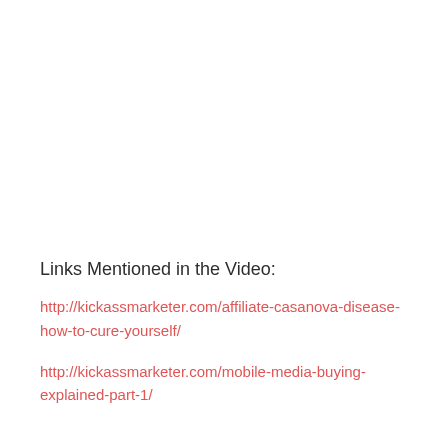Links Mentioned in the Video:
http://kickassmarketer.com/affiliate-casanova-disease-how-to-cure-yourself/
http://kickassmarketer.com/mobile-media-buying-explained-part-1/